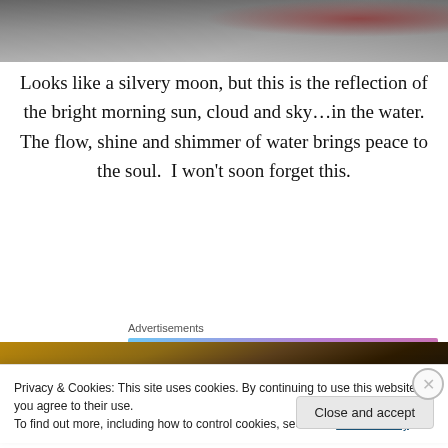[Figure (photo): Dark silvery water/moon photo at top of page]
Looks like a silvery moon, but this is the reflection of the bright morning sun, cloud and sky…in the water. The flow, shine and shimmer of water brings peace to the soul.  I won't soon forget this.
Advertisements
[Figure (other): WordPress.com advertisement banner: 'Simplified pricing for everything you need.' with WordPress.com logo]
[Figure (photo): Dark interior/wood photo at bottom of page]
Privacy & Cookies: This site uses cookies. By continuing to use this website, you agree to their use.
To find out more, including how to control cookies, see here: Cookie Policy